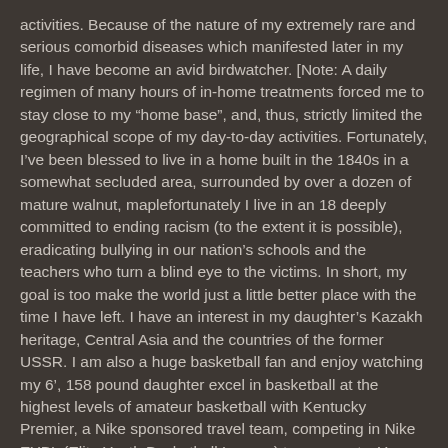activities. Because of the nature of my extremely rare and serious comorbid diseases which manifested later in my life, I have become an avid birdwatcher. [Note: A daily regimen of many hours of in-home treatments forced me to stay close to my "home base", and, thus, strictly limited the geographical scope of my day-to-day activities. Fortunately, I've been blessed to live in a home built in the 1840s in a somewhat secluded area, surrounded by over a dozen of mature walnut, maplefortunately I live in an 18 deeply committed to ending racism (to the extent it is possible), eradicating bullying in our nation's schools and the teachers who turn a blind eye to the victims. In short, my goal is too make the world just a little better place with the time I have left. I have an interest in my daughter's Kazakh heritage, Central Asia and the countries of the former USSR. I am also a huge basketball fan and enjoy watching my 6', 158 pound daughter excel in basketball at the highest levels of amateur basketball with Kentucky Premier, a Nike sponsored travel team, competing in Nike EYBL (Elite Youth Basketball League) tournaments. You can contact me at terryclarke@outlook.com with ANY questions or comments about my interests or subjects you would like to se addressed